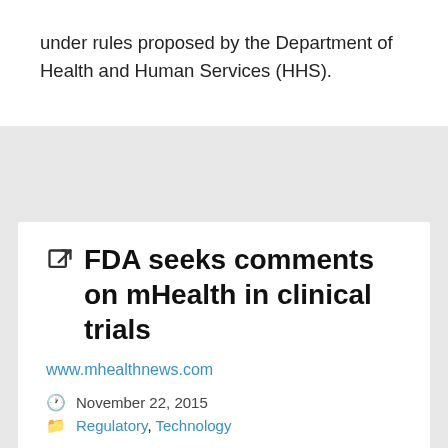under rules proposed by the Department of Health and Human Services (HHS).
FDA seeks comments on mHealth in clinical trials
www.mhealthnews.com
November 22, 2015
Regulatory, Technology
…In an October 29 notice published in the Federal Register, the FDA is seeking input on health technology right h…